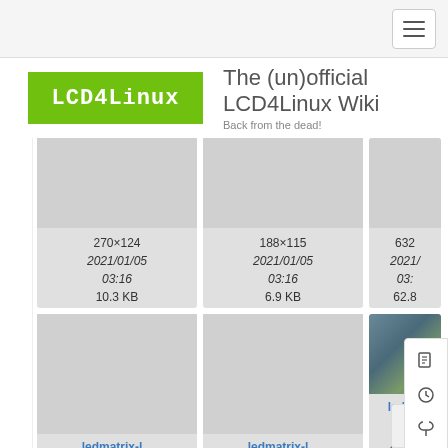[Figure (logo): LCD4Linux logo in green box with white dot-matrix text]
The (un)official LCD4Linux Wiki
Back from the dead!
[Figure (other): File card: 270×124, 2021/01/05 03:16, 10.3 KB]
[Figure (other): File card: 188×115, 2021/01/05 03:16, 6.9 KB]
[Figure (other): File card partial: 632..., 2021/..., 03:..., 62.8...]
[Figure (other): File card: ledmatrix-l..., 632×326, 2021/01/05 03:16, 62.8 KB]
[Figure (other): File card: ledmatrix-l..., 561×233, 2021/01/05 03:16, 53.2 KB]
[Figure (other): File card partial: ledma..., 480..., 2021/..., 03:..., 45.8...]